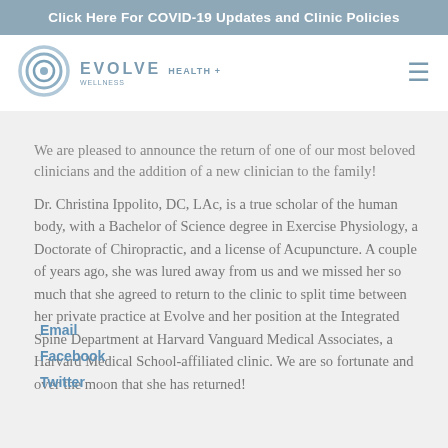Click Here For COVID-19 Updates and Clinic Policies
[Figure (logo): Evolve Health + Wellness logo with circular spiral icon]
We are pleased to announce the return of one of our most beloved clinicians and the addition of a new clinician to the family!
Dr. Christina Ippolito, DC, LAc, is a true scholar of the human body, with a Bachelor of Science degree in Exercise Physiology, a Doctorate of Chiropractic, and a license of Acupuncture. A couple of years ago, she was lured away from us and we missed her so much that she agreed to return to the clinic to split time between her private practice at Evolve and her position at the Integrated Spine Department at Harvard Vanguard Medical Associates, a Harvard Medical School-affiliated clinic. We are so fortunate and over the moon that she has returned!